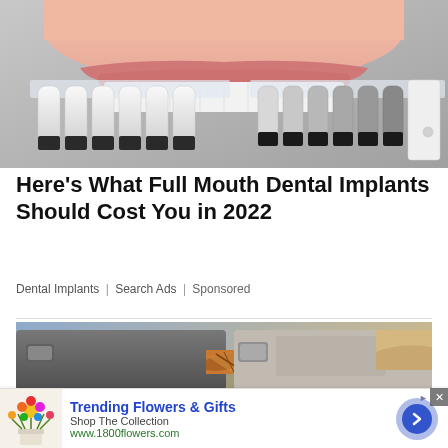[Figure (photo): Close-up photo of a dental veneer shade guide being held up against a person's smile, showing rows of white tooth-shaped veneers on black plastic holders compared against natural teeth.]
Here's What Full Mouth Dental Implants Should Cost You in 2022
Dental Implants | Search Ads | Sponsored
[Figure (photo): Photo of a car's rusted/cracked windshield or dashboard area, showing severe deterioration and orange rust along the edges.]
[Figure (photo): Advertisement banner for 1800flowers.com showing a colorful bouquet of flowers in a vase. Ad reads: Trending Flowers & Gifts, Shop The Collection, www.1800flowers.com with a blue arrow button.]